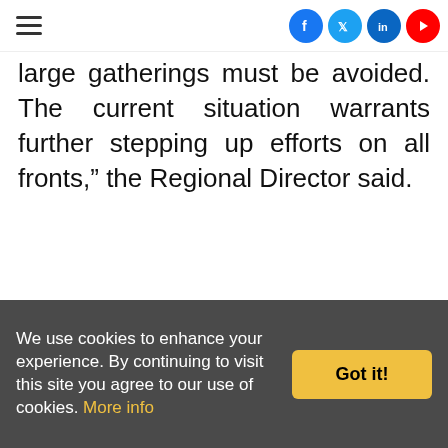Navigation menu and social icons (Facebook, Twitter, LinkedIn, YouTube)
large gatherings must be avoided. The current situation warrants further stepping up efforts on all fronts,” the Regional Director said.
– PTI
Post Views: 312
[Figure (infographic): City Cleaning advertisement banner: logo, tagline 'We are proud to be UK’s best agency for Staff Solution in hospitality', 'We Supply Quality Staff', roles listed, website and phone number]
We use cookies to enhance your experience. By continuing to visit this site you agree to our use of cookies. More info
Got it!